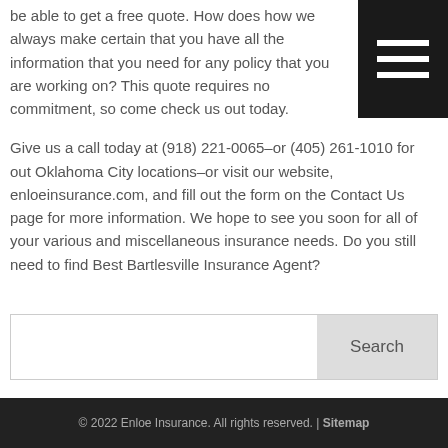be able to get a free quote. How does how we always make certain that you have all the information that you need for any policy that you are working on? This quote requires no commitment, so come check us out today.
Give us a call today at (918) 221-0065–or (405) 261-1010 for out Oklahoma City locations–or visit our website, enloeinsurance.com, and fill out the form on the Contact Us page for more information. We hope to see you soon for all of your various and miscellaneous insurance needs. Do you still need to find Best Bartlesville Insurance Agent?
© 2022 Enloe Insurance. All rights reserved. | Sitemap